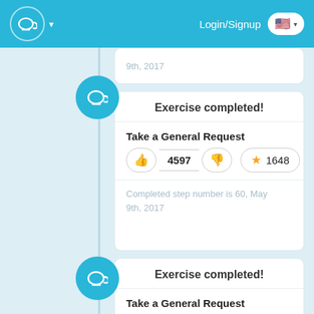Login/Signup
9th, 2017
Exercise completed!
Take a General Request
4597
1648
Completed step number is 60, May 9th, 2017
Exercise completed!
Take a General Request
4597
1648
Completed step number is 60, May